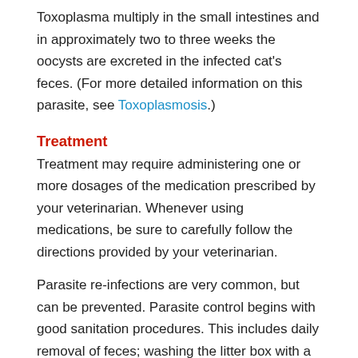Toxoplasma multiply in the small intestines and in approximately two to three weeks the oocysts are excreted in the infected cat's feces. (For more detailed information on this parasite, see Toxoplasmosis.)
Treatment
Treatment may require administering one or more dosages of the medication prescribed by your veterinarian. Whenever using medications, be sure to carefully follow the directions provided by your veterinarian.
Parasite re-infections are very common, but can be prevented. Parasite control begins with good sanitation procedures. This includes daily removal of feces; washing the litter box with a disinfectant (e.g., diluted household bleach) on a regular basis; avoiding overcrowded conditions; avoiding diets with raw meats; and controlling